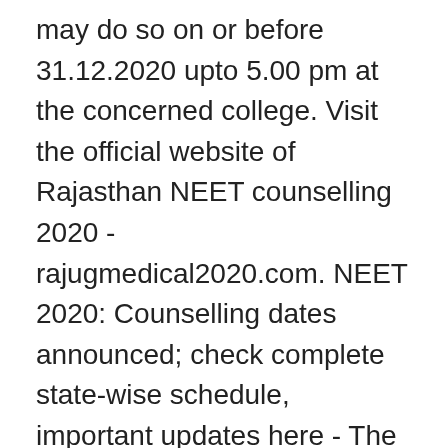may do so on or before 31.12.2020 upto 5.00 pm at the concerned college. Visit the official website of Rajasthan NEET counselling 2020 - rajugmedical2020.com. NEET 2020: Counselling dates announced; check complete state-wise schedule, important updates here - The MCC recently ended the process for the first round of NEET-UG Counselling for the All India Quota Seats. New Delhi, November 19 | Rajasthan NEET UG Seat Allotment List 2020 for Round 1 has been released today, November 19, 2020 by the Medical Education Department, Government of Rajasthan on the official website rajugmedical2020.com.. All Rights Reserved Copyrights @2020 GetMyUni.com. Candidates must carry the required documents at the document verification centre. The category-wise merit list is expected to be released soon. Admission Intake for BDS in Dental Colleges: 1190